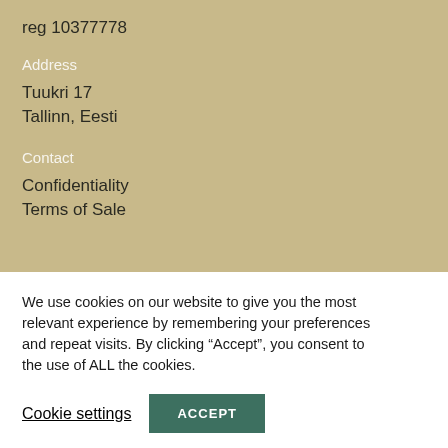reg 10377778
Address
Tuukri 17
Tallinn, Eesti
Contact
Confidentiality
Terms of Sale
We use cookies on our website to give you the most relevant experience by remembering your preferences and repeat visits. By clicking “Accept”, you consent to the use of ALL the cookies.
Cookie settings
ACCEPT